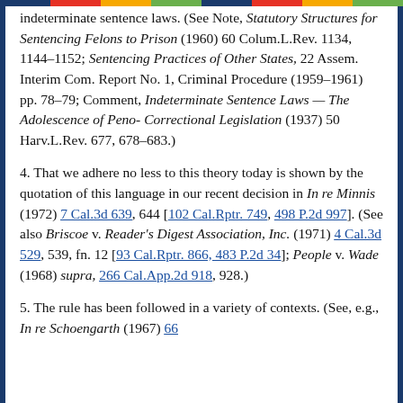indeterminate sentence laws. (See Note, Statutory Structures for Sentencing Felons to Prison (1960) 60 Colum.L.Rev. 1134, 1144–1152; Sentencing Practices of Other States, 22 Assem. Interim Com. Report No. 1, Criminal Procedure (1959–1961) pp. 78–79; Comment, Indeterminate Sentence Laws — The Adolescence of Peno-Correctional Legislation (1937) 50 Harv.L.Rev. 677, 678–683.)
4. That we adhere no less to this theory today is shown by the quotation of this language in our recent decision in In re Minnis (1972) 7 Cal.3d 639, 644 [102 Cal.Rptr. 749, 498 P.2d 997]. (See also Briscoe v. Reader's Digest Association, Inc. (1971) 4 Cal.3d 529, 539, fn. 12 [93 Cal.Rptr. 866, 483 P.2d 34]; People v. Wade (1968) supra, 266 Cal.App.2d 918, 928.)
5. The rule has been followed in a variety of contexts. (See, e.g., In re Schoengarth (1967) 66